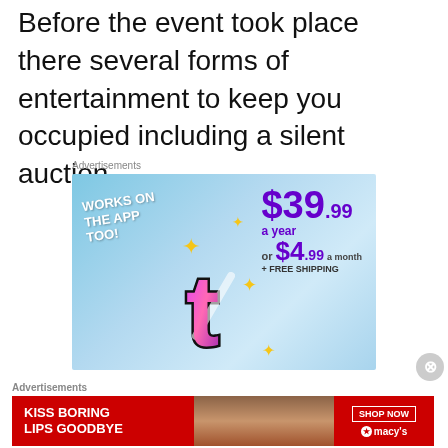Before the event took place there several forms of entertainment to keep you occupied including a silent auction.
Advertisements
[Figure (screenshot): Advertisement for a service showing '$39.99 a year or $4.99 a month + FREE SHIPPING' with 'WORKS ON THE APP TOO!' text and a stylized letter T logo with sparkles on a blue sky background.]
Advertisements
[Figure (screenshot): Macy's advertisement with red background showing 'KISS BORING LIPS GOODBYE' text with a photo of a woman with red lips and 'SHOP NOW' button with Macy's star logo.]